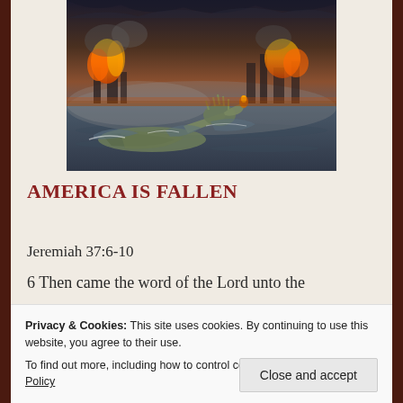[Figure (illustration): Apocalyptic scene showing the Statue of Liberty fallen and destroyed in turbulent waters, with fire and a burning cityscape in the background under dark stormy skies.]
AMERICA IS FALLEN
Jeremiah 37:6-10
6 Then came the word of the Lord unto the prophet Jeremiah, saying,
Egypt into their own land.
Privacy & Cookies: This site uses cookies. By continuing to use this website, you agree to their use.
To find out more, including how to control cookies, see here: Cookie Policy